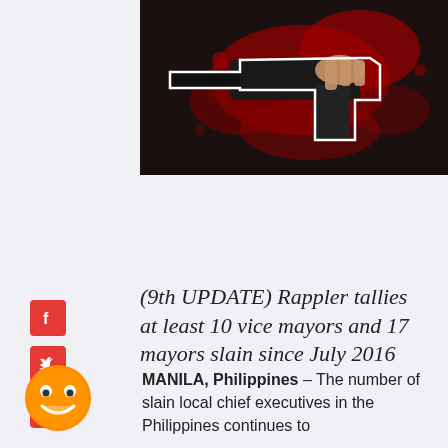[Figure (photo): A hand holding a gun against a dark background with red blood splatter imagery]
(9th UPDATE) Rappler tallies at least 10 vice mayors and 17 mayors slain since July 2016
[Figure (infographic): HOW DO YOU FEEL ABOUT THIS? sentiment widget with dark navy background]
[Figure (illustration): Smiling emoji face icon, orange/yellow circle with big eyes and smile]
MANILA, Philippines – The number of slain local chief executives in the Philippines continues to